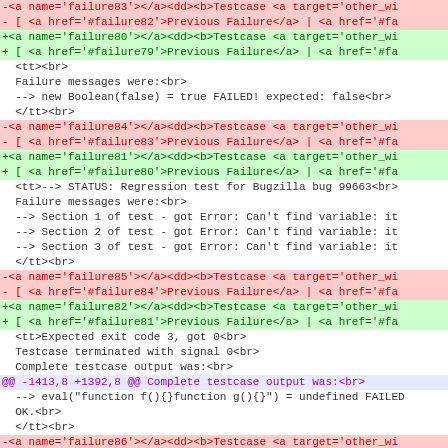Diff output showing code changes for test failure entries 83-86, including removed/added lines with HTML anchor tags, test case failure messages, and a hunk header.